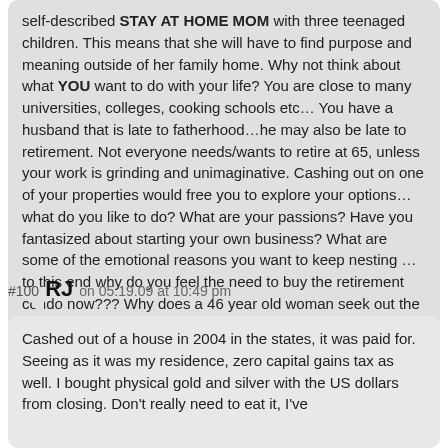self-described STAY AT HOME MOM with three teenaged children. This means that she will have to find purpose and meaning outside of her family home. Why not think about what YOU want to do with your life? You are close to many universities, colleges, cooking schools etc… You have a husband that is late to fatherhood…he may also be late to retirement. Not everyone needs/wants to retire at 65, unless your work is grinding and unimaginative. Cashing out on one of your properties would free you to explore your options…what do you like to do? What are your passions? Have you fantasized about starting your own business? What are some of the emotional reasons you want to keep nesting …to this end why do you feel the need to buy the retirement condo now??? Why does a 46 year old woman seek out the reassurance of paternalistic advice? As one commentator noted, if this was about real estate, the book would not lead you to ask these questions. I'm suggesting that you are asking the wrong questions to the wrong person!
#100 RJ on 05.19.09 at 10:49 pm
Cashed out of a house in 2004 in the states, it was paid for. Seeing as it was my residence, zero capital gains tax as well. I bought physical gold and silver with the US dollars from closing. Don't really need to eat it, I've